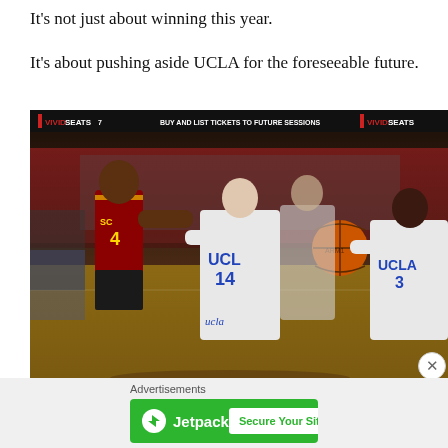It's not just about winning this year.
It's about pushing aside UCLA for the foreseeable future.
[Figure (photo): Basketball game action shot showing USC player in red/gold uniform competing against UCLA players in white uniforms numbered 14 and 3, with a basketball in the air and arena scoreboard in background showing VIVIDSEATS advertisement]
Advertisements
[Figure (other): Jetpack advertisement banner with green background showing Jetpack logo and 'Secure Your Site' button]